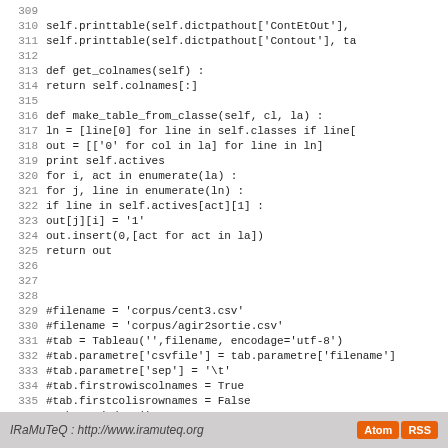[Figure (screenshot): Python source code listing, lines 309-337, showing class methods printtable, get_colnames, make_table_from_classe, and commented-out code block]
IRaMuTeQ : http://www.iramuteq.org  Atom  RSS